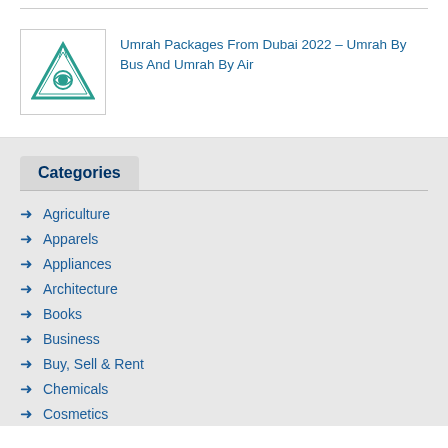[Figure (logo): Teal/green all-seeing eye pyramid logo in a square border]
Umrah Packages From Dubai 2022 – Umrah By Bus And Umrah By Air
Categories
Agriculture
Apparels
Appliances
Architecture
Books
Business
Buy, Sell & Rent
Chemicals
Cosmetics